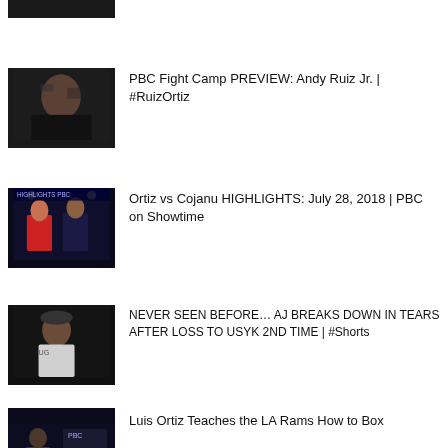[Figure (photo): Partial thumbnail of a boxing video at top of page, mostly cropped]
PBC Fight Camp PREVIEW: Andy Ruiz Jr. | #RuizOrtiz
Ortiz vs Cojanu HIGHLIGHTS: July 28, 2018 | PBC on Showtime
NEVER SEEN BEFORE… AJ BREAKS DOWN IN TEARS AFTER LOSS TO USYK 2ND TIME | #Shorts
Luis Ortiz Teaches the LA Rams How to Box